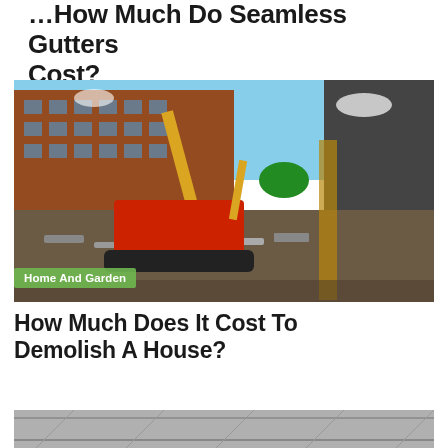How Much Do Seamless Gutters Cost?
[Figure (photo): Construction demolition scene showing a red excavator tearing down a brick building, with rubble and debris on the ground, buildings in the background under blue sky]
Home And Garden
How Much Does It Cost To Demolish A House?
[Figure (photo): Close-up of grey asphalt roof shingles]